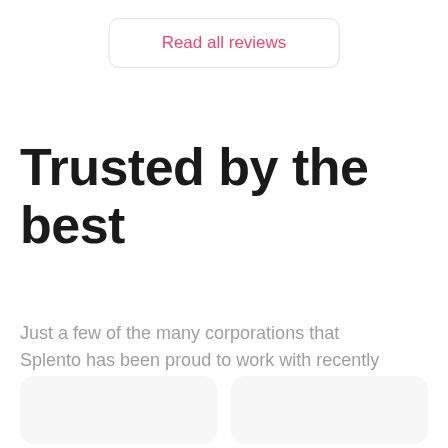Read all reviews
Trusted by the best
Just a few of the many corporations that Splento has been proud to work with recently